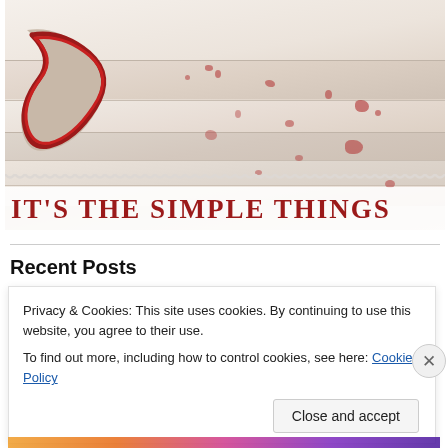[Figure (photo): Photo of folded white fabric/linens with red floral pattern and red ruffled trim edge, with text overlay 'IT'S THE SIMPLE THINGS' in red serif font on white background at bottom of image.]
IT'S THE SIMPLE THINGS
Recent Posts
Privacy & Cookies: This site uses cookies. By continuing to use this website, you agree to their use.
To find out more, including how to control cookies, see here: Cookie Policy
Close and accept